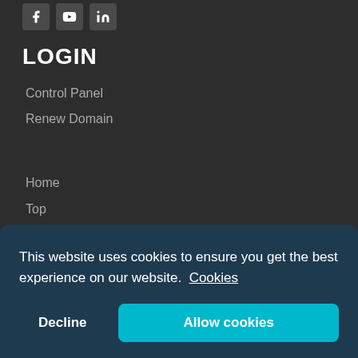[Figure (other): Row of three social media icon buttons (Facebook, YouTube, LinkedIn) at top left]
LOGIN
Control Panel
Renew Domain
Home
Top
FAQ
About Us
This website uses cookies to ensure you get the best experience on our website. Cookies
Decline  Allow cookies
©1997-2021 Copyright BB Online UK Limited, International Domain Registrars. Reproduction, partial or otherwise is strictly prohibited.